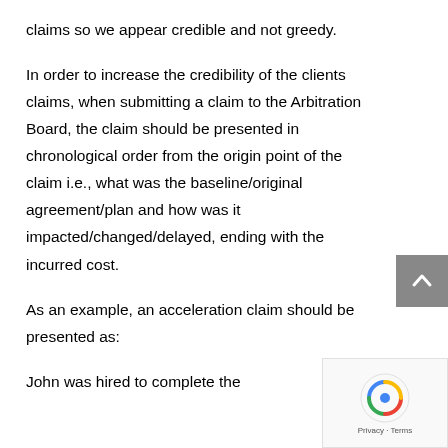claims so we appear credible and not greedy.
In order to increase the credibility of the clients claims, when submitting a claim to the Arbitration Board, the claim should be presented in chronological order from the origin point of the claim i.e., what was the baseline/original agreement/plan and how was it impacted/changed/delayed, ending with the incurred cost.
As an example, an acceleration claim should be presented as:
John was hired to complete the th